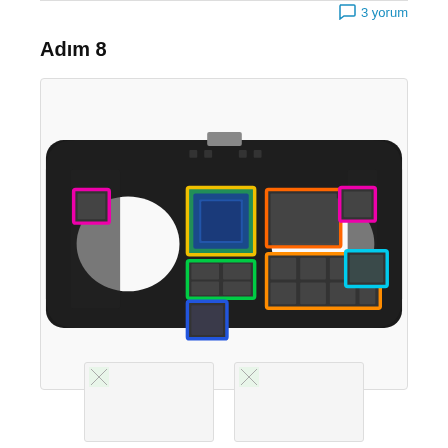3 yorum
Adım 8
[Figure (photo): MacBook Pro logic board / motherboard with multiple chips highlighted in colored rectangles: pink (top-left chip), pink (top-right chip), yellow (GPU/processor center-left), orange (CPU center-right), green (memory chips center-left), orange (memory chips center), blue (chip lower-left), cyan (chip lower-right).]
[Figure (photo): Thumbnail image 1 of logic board detail]
[Figure (photo): Thumbnail image 2 of logic board detail]